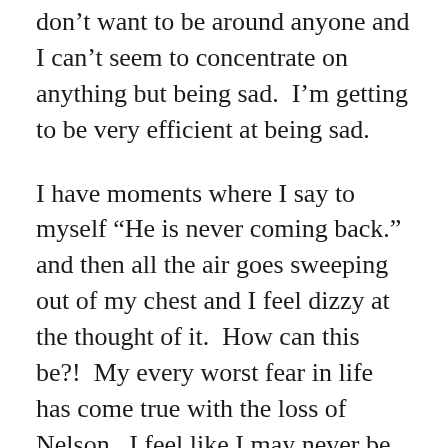don't want to be around anyone and I can't seem to concentrate on anything but being sad.  I'm getting to be very efficient at being sad.
I have moments where I say to myself “He is never coming back.” and then all the air goes sweeping out of my chest and I feel dizzy at the thought of it.  How can this be?!  My every worst fear in life has come true with the loss of Nelson.  I feel like I may never be okay again.  I know rationally that today is extra hard because we’ve reached the one month milestone....  but really each day is a milestone worth saying out loud.  Each day without him is one more I wish I didn’t have to face.  The idea of doing this forever is so overwhelming